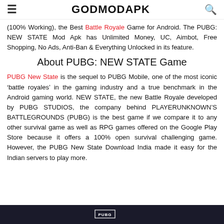GODMODAPK
(100% Working), the Best Battle Royale Game for Android. The PUBG: NEW STATE Mod Apk has Unlimited Money, UC, Aimbot, Free Shopping, No Ads, Anti-Ban & Everything Unlocked in its feature.
About PUBG: NEW STATE Game
PUBG New State is the sequel to PUBG Mobile, one of the most iconic 'battle royales' in the gaming industry and a true benchmark in the Android gaming world. NEW STATE, the new Battle Royale developed by PUBG STUDIOS, the company behind PLAYERUNKNOWN'S BATTLEGROUNDS (PUBG) is the best game if we compare it to any other survival game as well as RPG games offered on the Google Play Store because it offers a 100% open survival challenging game. However, the PUBG New State Download India made it easy for the Indian servers to play more.
[Figure (photo): Dark banner image with PUBG label/logo text]